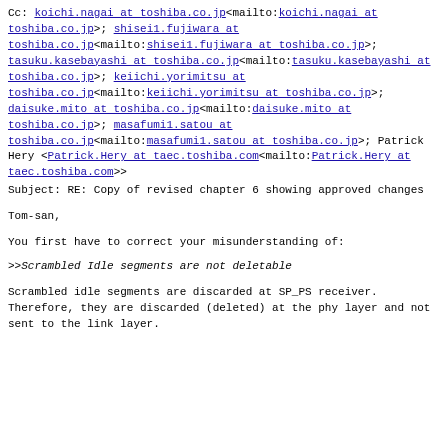Cc: koichi.nagai at toshiba.co.jp<mailto:koichi.nagai at toshiba.co.jp>; shisei1.fujiwara at toshiba.co.jp<mailto:shisei1.fujiwara at toshiba.co.jp>; tasuku.kasebayashi at toshiba.co.jp<mailto:tasuku.kasebayashi at toshiba.co.jp>; keiichi.yorimitsu at toshiba.co.jp<mailto:keiichi.yorimitsu at toshiba.co.jp>; daisuke.mito at toshiba.co.jp<mailto:daisuke.mito at toshiba.co.jp>; masafumi1.satou at toshiba.co.jp<mailto:masafumi1.satou at toshiba.co.jp>; Patrick Hery <Patrick.Hery at taec.toshiba.com<mailto:Patrick.Hery at taec.toshiba.com>>
Subject: RE: Copy of revised chapter 6 showing approved changes
Tom-san,
You first have to correct your misunderstanding of:
>>Scrambled Idle segments are not deletable
Scrambled idle segments are discarded at SP_PS receiver. Therefore, they are discarded (deleted) at the phy layer and not sent to the link layer.